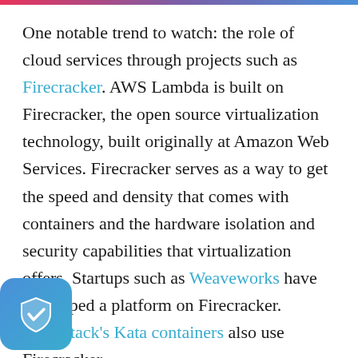One notable trend to watch: the role of cloud services through projects such as Firecracker. AWS Lambda is built on Firecracker, the open source virtualization technology, built originally at Amazon Web Services. Firecracker serves as a way to get the speed and density that comes with containers and the hardware isolation and security capabilities that virtualization offers. Startups such as Weaveworks have developed a platform on Firecracker. OpenStack's Kata containers also use Firecracker.
“Firecracker makes it easier for the enterprise to have secure code,” Ford said. It reduces surface rity issues. “With its minimal footprint, the user ntrol. It means less features that are